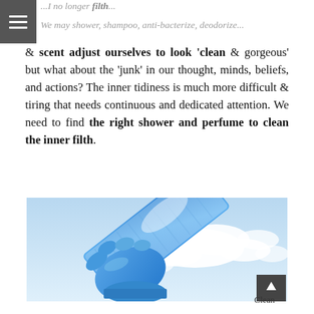...I no longer filth... We may shower, shampoo, anti-bacterize, deodorize...
& scent adjust ourselves to look 'clean' & gorgeous' but what about the 'junk' in our thought, minds, beliefs, and actions? The inner tidiness is much more difficult & tiring that needs continuous and dedicated attention. We need to find the right shower and perfume to clean the inner filth.
[Figure (photo): A gloved hand in blue rubber cleaning glove holding a blue scrubbing sponge/cloth against a sky with white clouds background, conceptual image of cleaning]
Clean